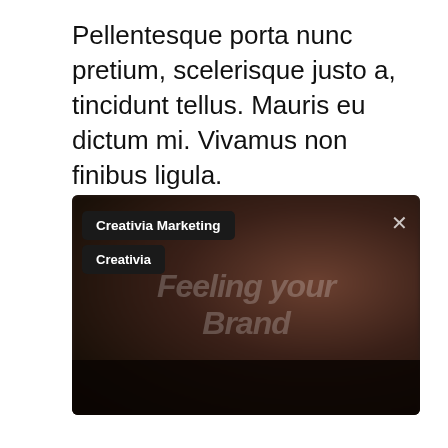Pellentesque porta nunc pretium, scelerisque justo a, tincidunt tellus. Mauris eu dictum mi. Vivamus non finibus ligula.
[Figure (screenshot): A dark blurred screenshot of a video or webpage showing 'Creativia Marketing' and 'Creativia' labels in the top-left corner, an X close button in the top-right, and faint italic text reading 'Feeling your Brand' overlaid on a dark blurred background with reddish-brown tones.]
...